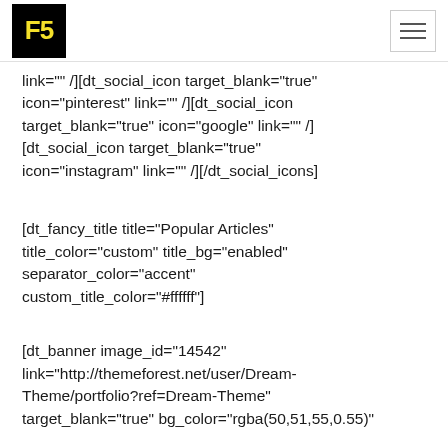F5 [logo/navigation header]
link="" /][dt_social_icon target_blank="true" icon="pinterest" link="" /][dt_social_icon target_blank="true" icon="google" link="" /][dt_social_icon target_blank="true" icon="instagram" link="" /][/dt_social_icons]
[dt_fancy_title title="Popular Articles" title_color="custom" title_bg="enabled" separator_color="accent" custom_title_color="#ffffff"]
[dt_banner image_id="14542" link="http://themeforest.net/user/Dream-Theme/portfolio?ref=Dream-Theme" target_blank="true" bg_color="rgba(50,51,55,0.55)"